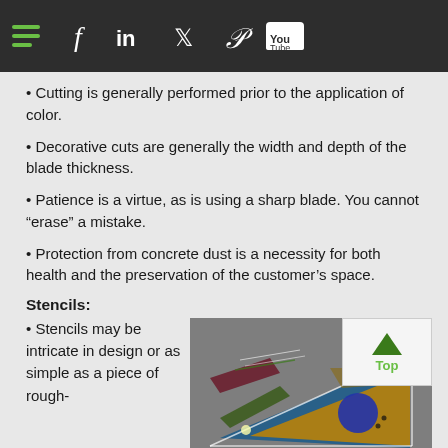Navigation bar with hamburger menu, Facebook, LinkedIn, Twitter, Pinterest, YouTube icons
Cutting is generally performed prior to the application of color.
Decorative cuts are generally the width and depth of the blade thickness.
Patience is a virtue, as is using a sharp blade. You cannot “erase” a mistake.
Protection from concrete dust is a necessity for both health and the preservation of the customer’s space.
Stencils:
Stencils may be intricate in design or as simple as a piece of rough-
[Figure (photo): Decorative concrete floor with geometric stencil designs featuring triangular shapes in blue, gold, burgundy and green colors with artistic patterns]